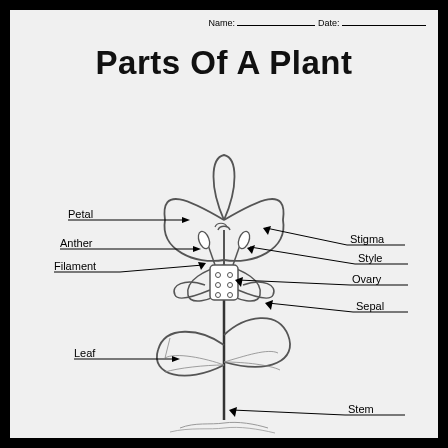Name: ___  Date: ___
Parts Of A Plant
[Figure (illustration): Labeled diagram of a plant showing: Petal (arrow pointing to flower petal), Anther (arrow pointing to anther), Filament (arrow pointing to filament), Stigma (arrow pointing to stigma), Style (arrow pointing to style), Ovary (arrow pointing to ovary), Sepal (arrow pointing to sepal), Leaf (arrow pointing to leaf), Stem (arrow pointing to stem). The plant has a flower cross-section at top showing internal reproductive parts, two leaves on the stem, and a stem going down.]